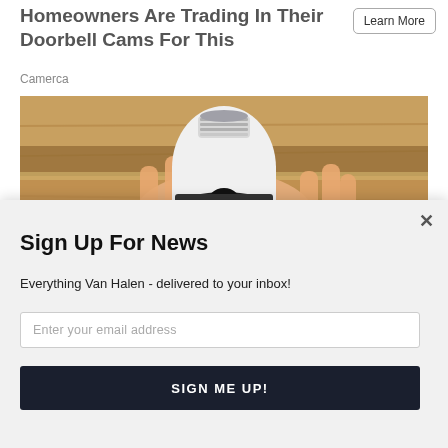Homeowners Are Trading In Their Doorbell Cams For This
Camerca
[Figure (photo): A hand holding a white smart light bulb camera device with a screw base at the top and a camera lens at the bottom, photographed against a wooden shelf background. A 'POWERED BY SUMO' badge is overlaid near the bottom center.]
Sign Up For News
Everything Van Halen - delivered to your inbox!
Enter your email address
SIGN ME UP!